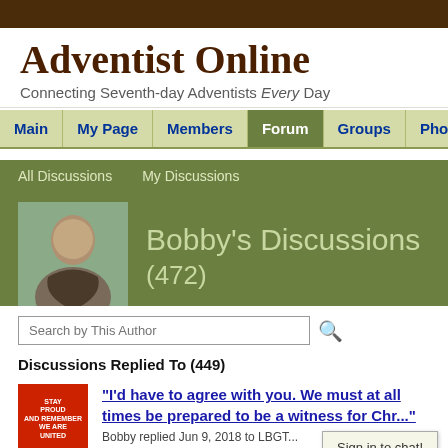Adventist Online — Connecting Seventh-day Adventists Every Day
Main | My Page | Members | Forum | Groups | Photos | Videos | E...
All Discussions   My Discussions
Bobby's Discussions (472)
Search by This Author
Discussions Replied To (449)
"I'd have to agree with you. We must at all times be prepared to be a witness for Chr..."
Bobby replied Jun 9, 2018 to LBGT...
Sign in to chat!